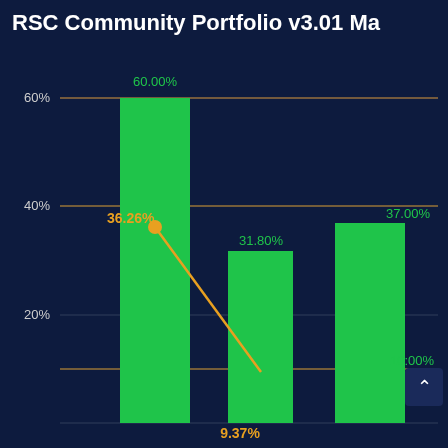RSC Community Portfolio v3.01 Ma
[Figure (bar-chart): RSC Community Portfolio v3.01 Ma]